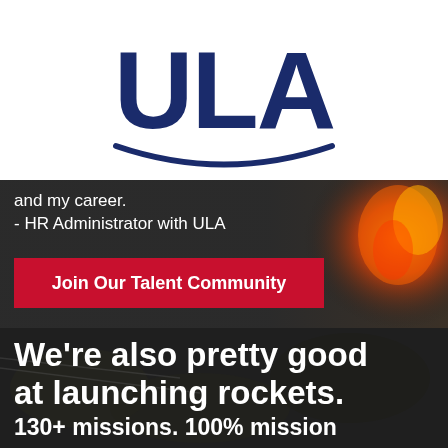[Figure (logo): ULA (United Launch Alliance) logo in dark navy blue with stylized letters and arc underneath]
and my career.
- HR Administrator with ULA
Join Our Talent Community
[Figure (photo): Aerial and rocket launch imagery with dark overlay]
We're also pretty good at launching rockets.
130+ missions. 100% mission